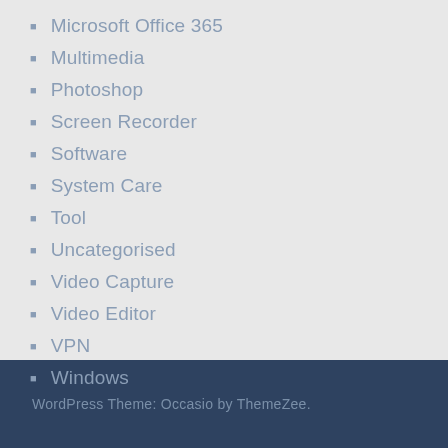Microsoft Office 365
Multimedia
Photoshop
Screen Recorder
Software
System Care
Tool
Uncategorised
Video Capture
Video Editor
VPN
Windows
WordPress Theme: Occasio by ThemeZee.